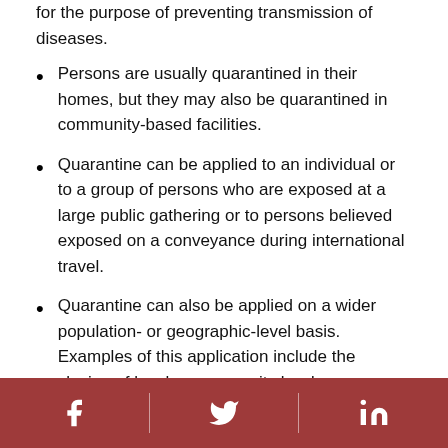for the purpose of preventing transmission of diseases.
Persons are usually quarantined in their homes, but they may also be quarantined in community-based facilities.
Quarantine can be applied to an individual or to a group of persons who are exposed at a large public gathering or to persons believed exposed on a conveyance during international travel.
Quarantine can also be applied on a wider population- or geographic-level basis. Examples of this application include the closing of local or community borders or erection of a barrier around a geographic area (cordon sanitaire) with strict enforcement to prohibit movement into
Social media icons: Facebook, Twitter, LinkedIn